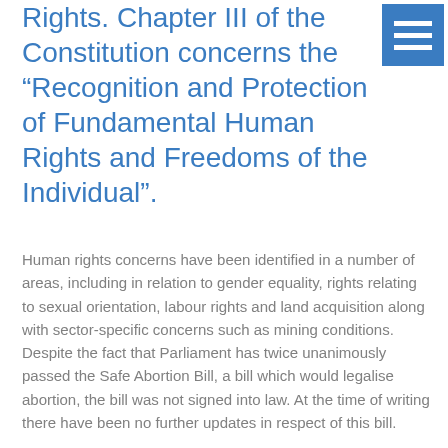Rights. Chapter III of the Constitution concerns the “Recognition and Protection of Fundamental Human Rights and Freedoms of the Individual”.
Human rights concerns have been identified in a number of areas, including in relation to gender equality, rights relating to sexual orientation, labour rights and land acquisition along with sector-specific concerns such as mining conditions. Despite the fact that Parliament has twice unanimously passed the Safe Abortion Bill, a bill which would legalise abortion, the bill was not signed into law. At the time of writing there have been no further updates in respect of this bill.